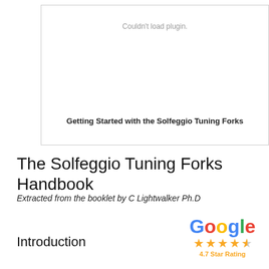[Figure (screenshot): Embedded video player box with 'Couldn't load plugin.' message and caption 'Getting Started with the Solfeggio Tuning Forks']
Getting Started with the Solfeggio Tuning Forks
The Solfeggio Tuning Forks Handbook
Extracted from the booklet by C Lightwalker Ph.D
[Figure (logo): Google logo with 4.7 Star Rating badge]
Introduction